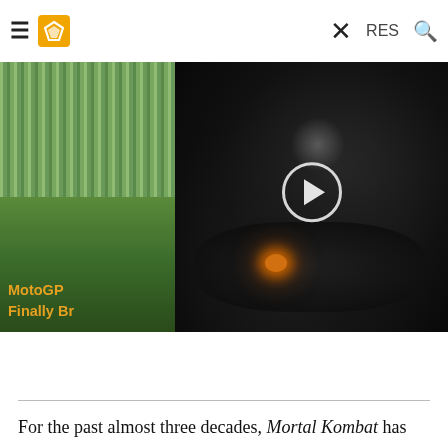Navigation bar with hamburger menu, logo, X close, FEATURES, and search icon
[Figure (screenshot): A dark video popup overlay showing a character in black armor on a motorcycle, with a circular play button. Behind the popup are partial images: left shows a racing/green background with orange link text 'MotoGP Finally Br...', right shows an orange-toned image with link text 'R Flat- als']
For the past almost three decades, Mortal Kombat has helped gamers around the world quench their thirst for blood and violence by facing epic opponents in a duel to the death. Each character possess their own range of special moves and powers, and when the infamous “Finish Him” resounds, their own set of personalized fatalities. In the Mortal Kombat universe, a fatality is a special finishing move that executes the losing fighter in the most, spectacular, gruesome, and admittedly creative way possible.